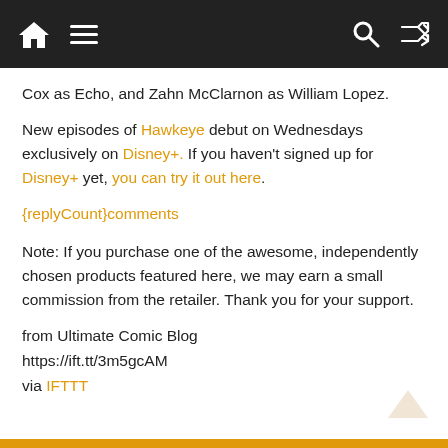Navigation header with home, menu, search, and shuffle icons
Cox as Echo, and Zahn McClarnon as William Lopez.
New episodes of Hawkeye debut on Wednesdays exclusively on Disney+. If you haven't signed up for Disney+ yet, you can try it out here.
{replyCount}comments
Note: If you purchase one of the awesome, independently chosen products featured here, we may earn a small commission from the retailer. Thank you for your support.
from Ultimate Comic Blog
https://ift.tt/3m5gcAM
via IFTTT